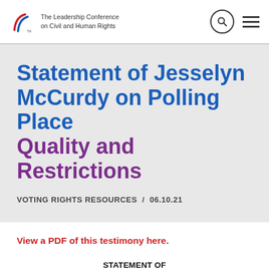The Leadership Conference on Civil and Human Rights
Statement of Jesselyn McCurdy on Polling Place Quality and Restrictions
VOTING RIGHTS RESOURCES / 06.10.21
View a PDF of this testimony here.
STATEMENT OF JESSELYN MCCURDY, MANAGING DIRECTOR OF GOVERNMENT AFFAIRS THE LEADERSHIP CONFERENCE ON CIVIL AND HUMAN